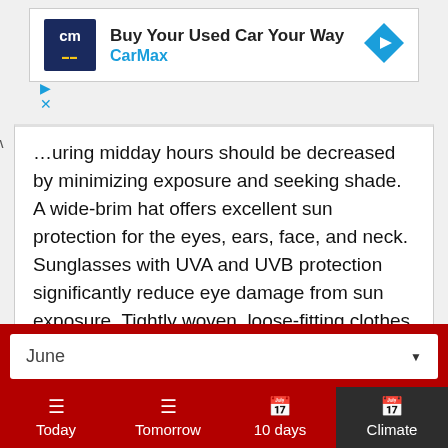[Figure (screenshot): CarMax advertisement banner: logo with 'cm' text on dark blue background, headline 'Buy Your Used Car Your Way', brand name 'CarMax' in blue, and a blue directional arrow diamond icon on the right. Play and close controls visible below left.]
...uring midday hours should be decreased by minimizing exposure and seeking shade. A wide-brim hat offers excellent sun protection for the eyes, ears, face, and neck. Sunglasses with UVA and UVB protection significantly reduce eye damage from sun exposure. Tightly woven, loose-fitting clothes provide additional protection from the Sun.
June (dropdown)
Today | Tomorrow | 10 days | Climate (navigation tabs, Climate selected)